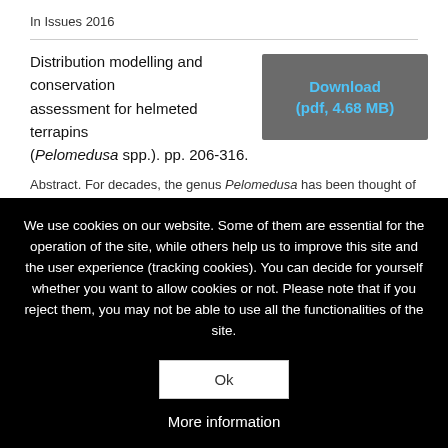In Issues 2016
Distribution modelling and conservation assessment for helmeted terrapins (Pelomedusa spp.). pp. 206-316.
Download (pdf, 4.68 MB)
Abstract. For decades, the genus Pelomedusa has been thought of
We use cookies on our website. Some of them are essential for the operation of the site, while others help us to improve this site and the user experience (tracking cookies). You can decide for yourself whether you want to allow cookies or not. Please note that if you reject them, you may not be able to use all the functionalities of the site.
Ok
More information